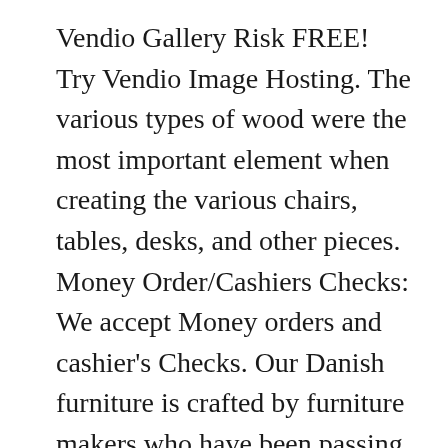Vendio Gallery Risk FREE! Try Vendio Image Hosting. The various types of wood were the most important element when creating the various chairs, tables, desks, and other pieces. Money Order/Cashiers Checks: We accept Money orders and cashier's Checks. Our Danish furniture is crafted by furniture makers who have been passing on their skills for generations and generations. The years went by, and one very inspiring day in the spring of 2013, I together with my wife Anna Sibast discovered a forgotten beauty designed by my grandfather in 1953 – the chair Sibast No 8. Jul 20, 2018 - Examples of signatures and maker's marks on mid century and danish modern design. Danish Lounge Chair And Ottoman By